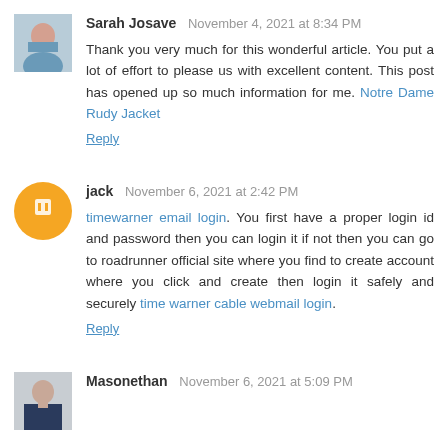Sarah Josave  November 4, 2021 at 8:34 PM
Thank you very much for this wonderful article. You put a lot of effort to please us with excellent content. This post has opened up so much information for me. Notre Dame Rudy Jacket
Reply
jack  November 6, 2021 at 2:42 PM
timewarner email login. You first have a proper login id and password then you can login it if not then you can go to roadrunner official site where you find to create account where you click and create then login it safely and securely time warner cable webmail login.
Reply
Masonethan  November 6, 2021 at 5:09 PM